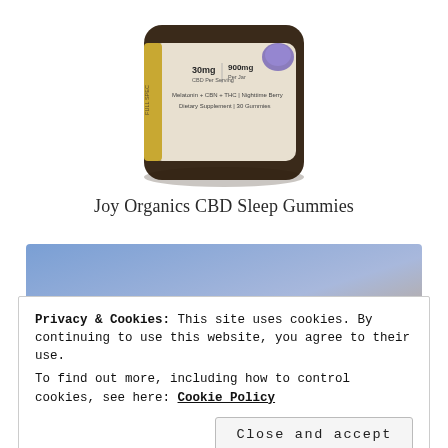[Figure (photo): Partial view of a Joy Organics CBD Sleep Gummies product jar, showing label with 30mg CBD per serving, 900mg per jar, Melatonin + CBN + THC, Nighttime Berry, Dietary Supplement, 30 Gummies]
Joy Organics CBD Sleep Gummies
[Figure (infographic): Purple-blue to tan gradient banner with white italic script text reading 'Looking to add more']
Privacy & Cookies: This site uses cookies. By continuing to use this website, you agree to their use.
To find out more, including how to control cookies, see here: Cookie Policy
Close and accept
[Figure (photo): Partial view of a warm brown/tan image at bottom of page, possibly food or another product]